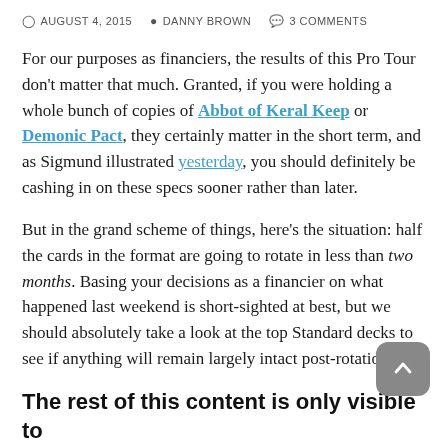© AUGUST 4, 2015   DANNY BROWN   3 COMMENTS
For our purposes as financiers, the results of this Pro Tour don't matter that much. Granted, if you were holding a whole bunch of copies of Abbot of Keral Keep or Demonic Pact, they certainly matter in the short term, and as Sigmund illustrated yesterday, you should definitely be cashing in on these specs sooner rather than later.
But in the grand scheme of things, here's the situation: half the cards in the format are going to rotate in less than two months. Basing your decisions as a financier on what happened last weekend is short-sighted at best, but we should absolutely take a look at the top Standard decks to see if anything will remain largely intact post-rotation.
The rest of this content is only visible to ProTrader members.